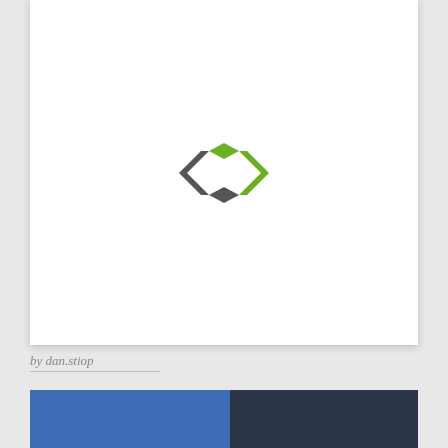[Figure (logo): A diamond/rhombus shaped logo made of angular bracket shapes. Left bracket is dark gray, right bracket is green, forming a combined diamond outline.]
by dan.stiop
[Figure (photo): Two side-by-side partial images at bottom: left is a solid blue rectangle, right is a dark navy/stormy sky image.]